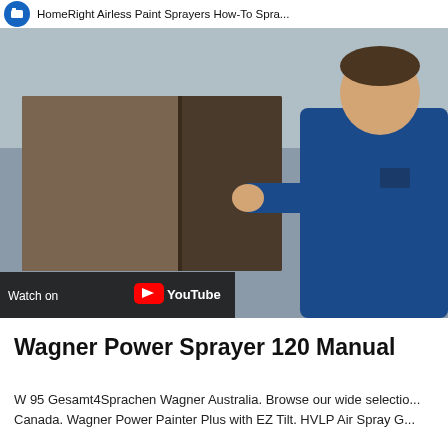HomeRight Airless Paint Sprayers How-To Spra...
[Figure (screenshot): YouTube video thumbnail showing a man in a blue shirt holding a brown panel, with a red YouTube play button overlay and a 'Watch on YouTube' bar at the bottom left.]
Wagner Power Sprayer 120 Manual
W 95 Gesamt4Sprachen Wagner Australia. Browse our wide selection Canada. Wagner Power Painter Plus with EZ Tilt. HVLP Air Spray G...